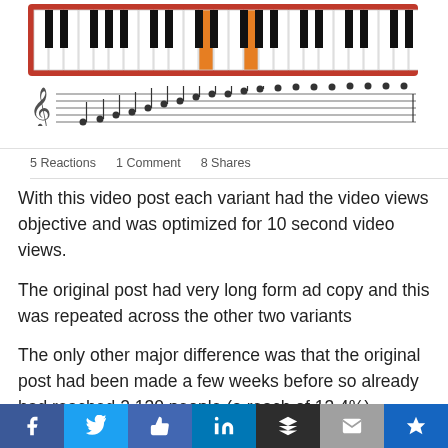[Figure (screenshot): Screenshot of a Facebook post showing a piano keyboard image with highlighted orange keys on a red background, and a sheet music staff below it]
5 Reactions  1 Comment  8 Shares
With this video post each variant had the video views objective and was optimized for 10 second video views.
The original post had very long form ad copy and this was repeated across the other two variants
The only other major difference was that the original post had been made a few weeks before so already had reached 2,130 people (a reach of 13.4%), obtained 667 views (258 of which were 10 second or more views) with an average watch time of 23 seconds. It also had a small number of
[Figure (screenshot): Social media share bar with Facebook, Twitter, Like, LinkedIn, Buffer, Mail, and Pinterest buttons]